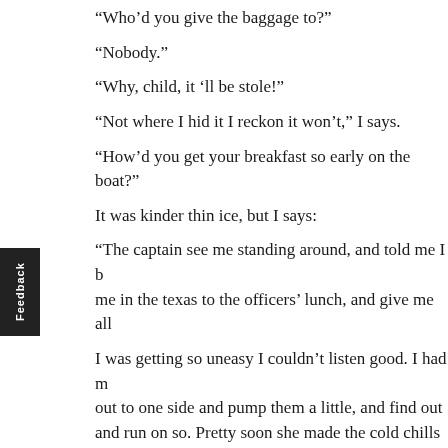“Who’d you give the baggage to?”
“Nobody.”
“Why, child, it ’ll be stole!”
“Not where I hid it I reckon it won’t,” I says.
“How’d you get your breakfast so early on the boat?”
It was kinder thin ice, but I says:
“The captain see me standing around, and told me I b… me in the texas to the officers’ lunch, and give me all…
I was getting so uneasy I couldn’t listen good. I had m… out to one side and pump them a little, and find out… and run on so. Pretty soon she made the cold chills st…
“But here we’re a-running on this way, and you hain… my works a little, and you start up yourn; just tell m… and how they are, and what they’re doing, and wha… think of.”